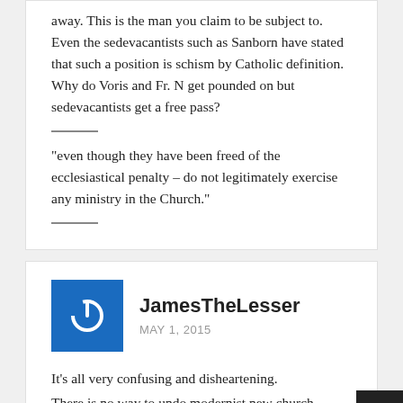away. This is the man you claim to be subject to. Even the sedevacantists such as Sanborn have stated that such a position is schism by Catholic definition. Why do Voris and Fr. N get pounded on but sedevacantists get a free pass?
“even though they have been freed of the ecclesiastical penalty – do not legitimately exercise any ministry in the Church.”
JamesTheLesser
MAY 1, 2015
It’s all very confusing and disheartening.
There is no way to undo modernist new church.
The sedevacantist position is ludicrous.
The SSPX position makes little sense.
What is a Catholic to do?